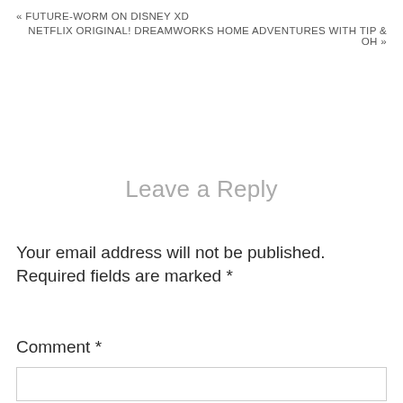« FUTURE-WORM ON DISNEY XD
NETFLIX ORIGINAL! DREAMWORKS HOME ADVENTURES WITH TIP & OH »
Leave a Reply
Your email address will not be published. Required fields are marked *
Comment *